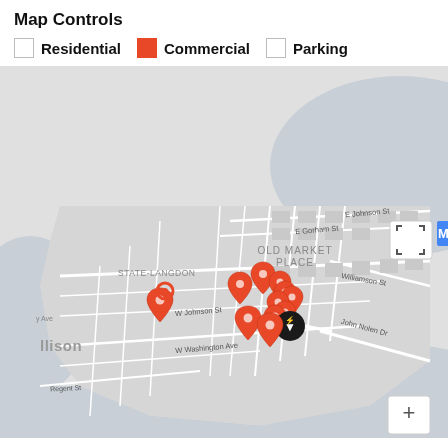Map Controls
Residential   Commercial   Parking
[Figure (map): Interactive street map of Madison, WI showing Old Market Place, State-Langdon, and surrounding area. Multiple red map pin markers clustered in the center, one black cluster marker. Street labels include W Johnson St, W Washington Ave, John Nolen Dr, Williamson St, E Johnson St, E Gorham St, Regent St. Expand icon in upper right, zoom +/- controls in lower right.]